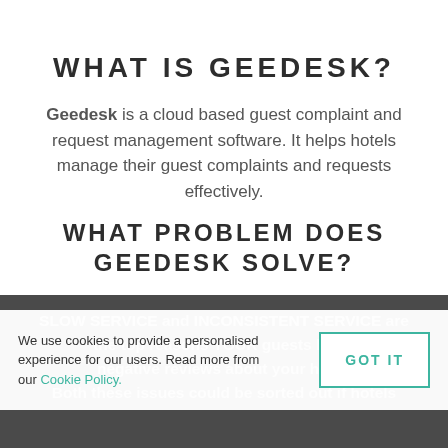WHAT IS GEEDESK?
Geedesk is a cloud based guest complaint and request management software. It helps hotels manage their guest complaints and requests effectively.
WHAT PROBLEM DOES GEEDESK SOLVE?
SLOW SERVICE and INCONSISTENT SERVICE are the top reasons YOUR guests leave negative reviews about your hotel. Both these issues could be sorted out if hotels
We use cookies to provide a personalised experience for our users. Read more from our Cookie Policy.